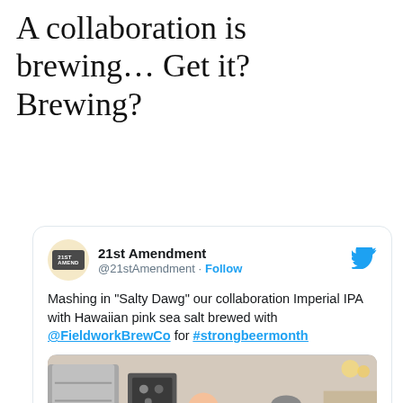A collaboration is brewing… Get it? Brewing?
[Figure (screenshot): A tweet from @21stAmendment showing a post about 'Salty Dawg' collaboration Imperial IPA with Fieldwork Brew Co, including a photo of two men in a brewery with stainless steel equipment.]